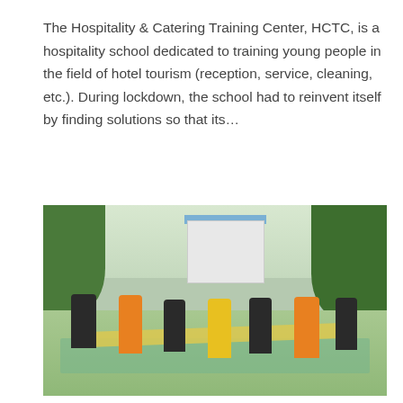The Hospitality & Catering Training Center, HCTC, is a hospitality school dedicated to training young people in the field of hotel tourism (reception, service, cleaning, etc.). During lockdown, the school had to reinvent itself by finding solutions so that its...
[Figure (photo): Outdoor photo of young people (students) participating in a group activity, holding a long yellow cloth/sheet in what appears to be a shallow water area or wet ground, with trees and a building in the background.]